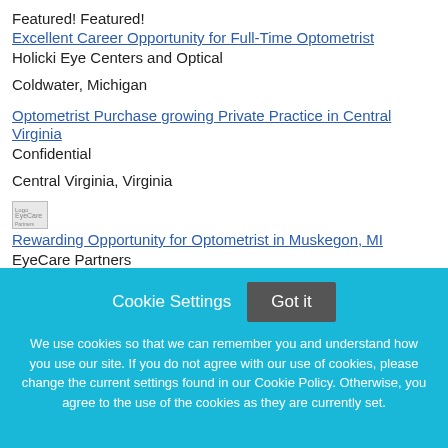Featured! Featured!
Excellent Career Opportunity for Full-Time Optometrist
Holicki Eye Centers and Optical
Coldwater, Michigan
Optometrist Purchase growing Private Practice in Central Virginia
Confidential
Central Virginia, Virginia
[Figure (logo): EyeCare Partners Logo placeholder image]
Rewarding Opportunity for Optometrist in Muskegon, MI
EyeCare Partners
Cookie Settings
Got it
We use cookies so that we can remember you and understand how you use our site. If you do not agree with our use of cookies, please change the current settings found in our Cookie Policy. Otherwise, you agree to the use of the cookies as they are currently set.